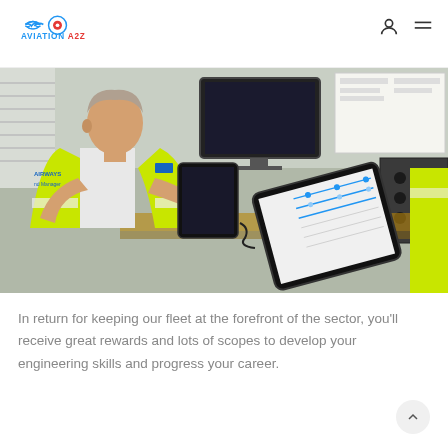AVIATION A2Z
[Figure (photo): An aviation maintenance engineer in a yellow high-visibility vest with 'AIRWAYS Manager' text, holding a tablet device. In the background is a workstation with monitors, a keyboard, and another tablet propped up. The setting is an aviation maintenance office or workshop.]
In return for keeping our fleet at the forefront of the sector, you'll receive great rewards and lots of scopes to develop your engineering skills and progress your career.